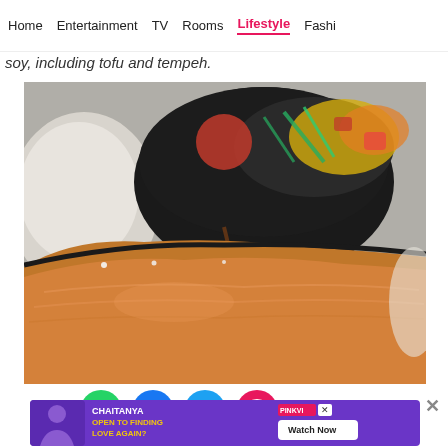Home  Entertainment  TV  Rooms  Lifestyle  Fashi
soy, including tofu and tempeh.
[Figure (photo): Close-up food photo showing grilled or seared salmon steak in the foreground with a dark bowl containing a colorful dish (vegetables and sauce) in the background, on a blurred background.]
[Figure (infographic): Social sharing icons row: WhatsApp (green), Facebook (blue), Twitter/X (light blue), Chat/Comments (pink/red)]
[Figure (screenshot): Advertisement banner: Purple background with man's photo on left, text 'CHAITANYA OPEN TO FINDING LOVE AGAIN?' with yellow text, PINKVI logo, and Watch Now button on right. Close X button at top right.]